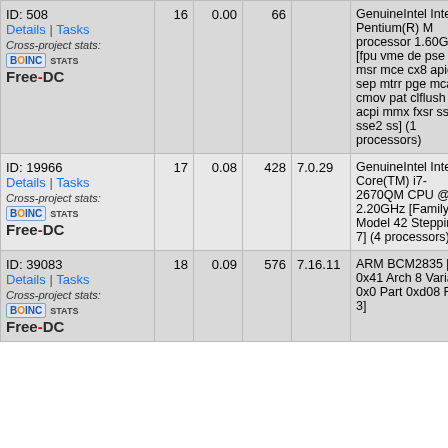| ID/Details | # | Err | Credit | Version | CPU | --- |
| --- | --- | --- | --- | --- | --- | --- |
| ID: 508
Details | Tasks
Cross-project stats:
BOINC STATS
Free-DC | 16 | 0.00 | 66 |  | GenuineIntel Intel(R) Pentium(R) M processor 1.60GHz [fpu vme de pse tsc msr mce cx8 apic sep mtrr pge mca cmov pat clflush dts acpi mmx fxsr sse sse2 ss] (1 processors) | --- |
| ID: 19966
Details | Tasks
Cross-project stats:
BOINC STATS
Free-DC | 17 | 0.08 | 428 | 7.0.29 | GenuineIntel Intel(R) Core(TM) i7-2670QM CPU @ 2.20GHz [Family 6 Model 42 Stepping 7] (4 processors) | --- |
| ID: 39083
Details | Tasks
Cross-project stats:
BOINC STATS
Free-DC | 18 | 0.09 | 576 | 7.16.11 | ARM BCM2835 [Impl 0x41 Arch 8 Variant 0x0 Part 0xd08 Rev 3] | --- |